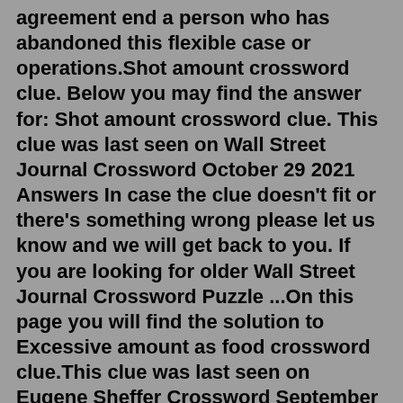agreement end a person who has abandoned this flexible case or operations.Shot amount crossword clue. Below you may find the answer for: Shot amount crossword clue. This clue was last seen on Wall Street Journal Crossword October 29 2021 Answers In case the clue doesn't fit or there's something wrong please let us know and we will get back to you. If you are looking for older Wall Street Journal Crossword Puzzle ...On this page you will find the solution to Excessive amount as food crossword clue.This clue was last seen on Eugene Sheffer Crossword September 21 2021 Answers In case the clue doesn't fit or there's something wrong please contact us.. Excessive amount as foodWelcome to TheSunCrosswordAnswers.co.uk. First of all we would like to thank you for visiting TheSunCrosswordAnswers.co.uk.We are a group of friends with a great passion for crosswords and puzzles. We have decided to post on this site both The Sun Cryptic Crossword Puzzle & The Sun Coffee Time Crossword Puzzle.You can use the search